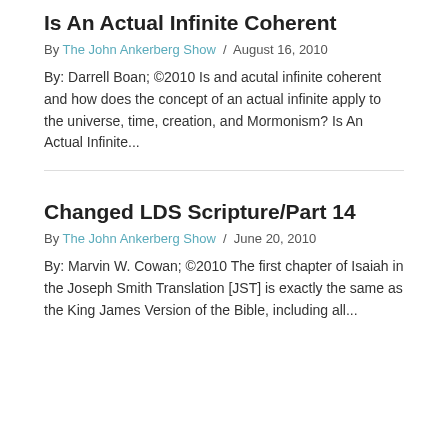Is An Actual Infinite Coherent
By The John Ankerberg Show / August 16, 2010
By: Darrell Boan; ©2010 Is and acutal infinite coherent and how does the concept of an actual infinite apply to the universe, time, creation, and Mormonism? Is An Actual Infinite...
Changed LDS Scripture/Part 14
By The John Ankerberg Show / June 20, 2010
By: Marvin W. Cowan; ©2010 The first chapter of Isaiah in the Joseph Smith Translation [JST] is exactly the same as the King James Version of the Bible, including all...